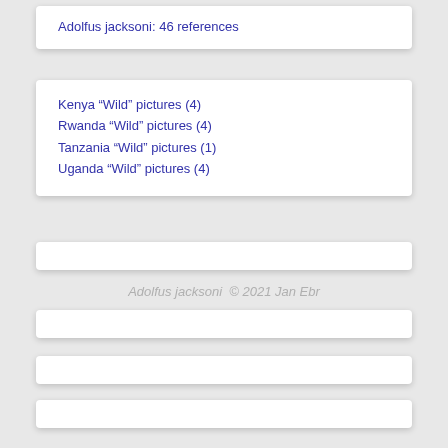Adolfus jacksoni: 46 references
Kenya “Wild” pictures (4)
Rwanda “Wild” pictures (4)
Tanzania “Wild” pictures (1)
Uganda “Wild” pictures (4)
Adolfus jacksoni © 2021 Jan Ebr